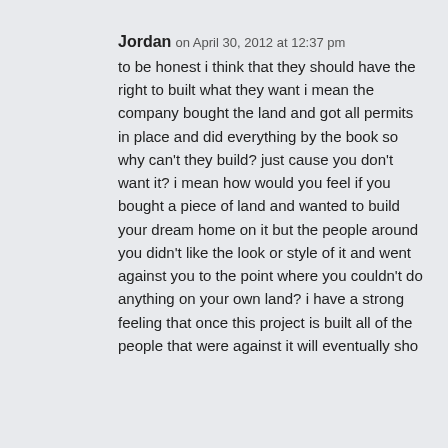Jordan on April 30, 2012 at 12:37 pm to be honest i think that they should have the right to built what they want i mean the company bought the land and got all permits in place and did everything by the book so why can't they build? just cause you don't want it? i mean how would you feel if you bought a piece of land and wanted to build your dream home on it but the people around you didn't like the look or style of it and went against you to the point where you couldn't do anything on your own land? i have a strong feeling that once this project is built all of the people that were against it will eventually sho...